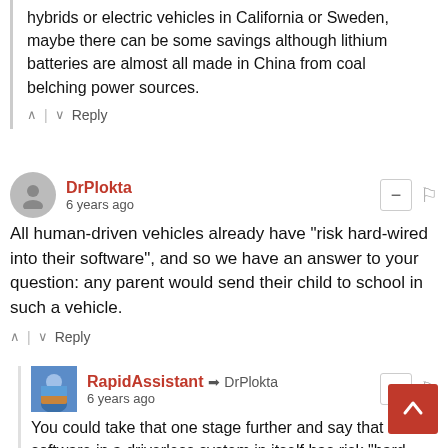hybrids or electric vehicles in California or Sweden, maybe there can be some savings although lithium batteries are almost all made in China from coal belching power sources.
^ | v Reply
DrPlokta 6 years ago
All human-driven vehicles already have "risk hard-wired into their software", and so we have an answer to your question: any parent would send their child to school in such a vehicle.
^ | v Reply
RapidAssistant → DrPlokta 6 years ago
You could take that one stage further and say that software in a driverless system in itself has risk "hard wired" into it because a human still has to write the code at the end of the day, so in that respect - engineering out human error is effectively impossible.
How can you program a computer that has to reliably deal with any of the infinite number of scenarios that can